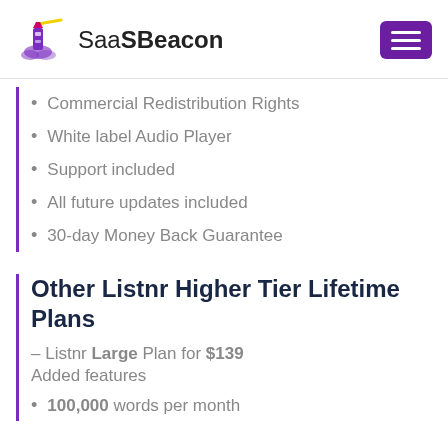SaaSBeacon
Commercial Redistribution Rights
White label Audio Player
Support included
All future updates included
30-day Money Back Guarantee
Other Listnr Higher Tier Lifetime Plans
– Listnr Large Plan for $139
Added features
100,000 words per month